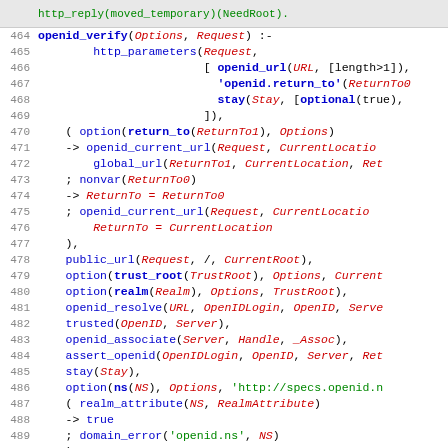[Figure (screenshot): Code listing showing Prolog source code for openid_verify predicate, lines 464-491, with syntax highlighting in blue, red, and green on white background]
http_reply(moved_temporary)(NeedRoot).
464 openid_verify(Options, Request) :-
465     http_parameters(Request,
466                     [ openid_url(URL, [length>1]),
467                         'openid.return_to'(ReturnTo0
468                         stay(Stay, [optional(true),
469                     ]),
470     (   option(return_to(ReturnTo1), Options)
471     ->  openid_current_url(Request, CurrentLocatio
472         global_url(ReturnTo1, CurrentLocation, Ret
473     ;   nonvar(ReturnTo0)
474     ->  ReturnTo = ReturnTo0
475     ;   openid_current_url(Request, CurrentLocatio
476         ReturnTo = CurrentLocation
477     ),
478     public_url(Request, /, CurrentRoot),
479     option(trust_root(TrustRoot), Options, Current
480     option(realm(Realm), Options, TrustRoot),
481     openid_resolve(URL, OpenIDLogin, OpenID, Serve
482     trusted(OpenID, Server),
483     openid_associate(Server, Handle, _Assoc),
484     assert_openid(OpenIDLogin, OpenID, Server, Ret
485     stay(Stay),
486     option(ns(NS), Options, 'http://specs.openid.n
487     (   realm_attribute(NS, RealmAttribute)
488     ->  true
489     ;   domain_error('openid.ns', NS)
490     ),
491     findall(RealmAttribute, ...